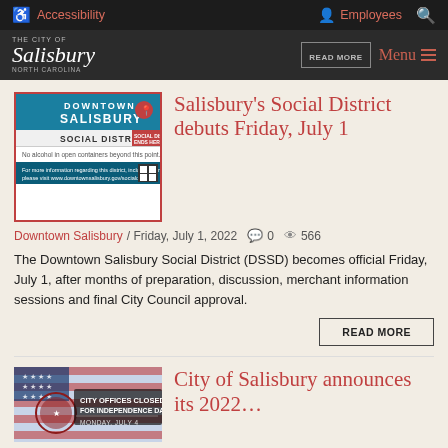Accessibility   Employees   [search]
The City of Salisbury — Menu
[Figure (screenshot): Downtown Salisbury Social District sign: text reads DOWNTOWN SALISBURY SOCIAL DISTRICT with location pin icon, No alcohol in open containers beyond this point.]
Salisbury's Social District debuts Friday, July 1
Downtown Salisbury / Friday, July 1, 2022  💬 0  👁 566
The Downtown Salisbury Social District (DSSD) becomes official Friday, July 1, after months of preparation, discussion, merchant information sessions and final City Council approval.
READ MORE
[Figure (photo): City Offices Closed for Independence Day, Monday July 4 — sign with American flag background and city seal]
City of Salisbury announces its 2022…